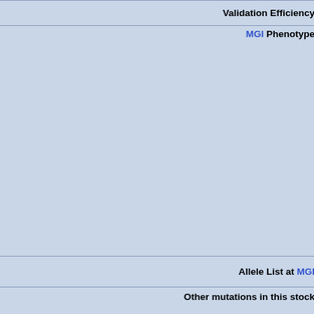| Field | Value |
| --- | --- |
| Validation Efficiency | 98 |
| MGI Phenotype | FUNC... on... ba... tra... ca... dis... rep... PH... po... |
| Allele List at MGI |  |
| Other mutations in this stock | To...
G...
1...
4...
A...
A...
A... |